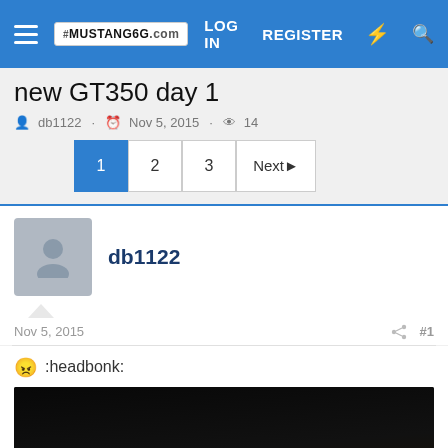MUSTANG6G.com | LOG IN | REGISTER
new GT350 day 1
db1122 · Nov 5, 2015 · 14
Pagination: 1, 2, 3, Next
db1122
Nov 5, 2015   #1
:headbonk:
[Figure (photo): Dark nighttime photo of a car, showing a faint glowing light strip along the lower edge of a vehicle, likely the GT350, taken on day 1.]